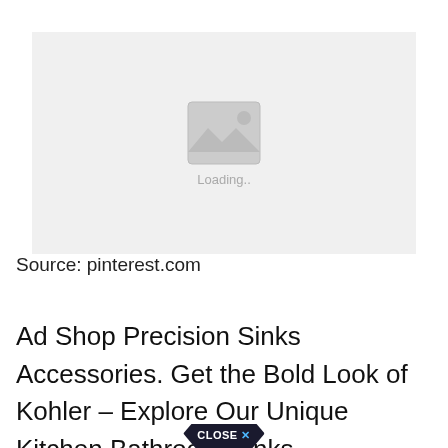[Figure (photo): Image loading placeholder with grey background, mountain/image icon, and 'Loading..' text]
Source: pinterest.com
Ad Shop Precision Sinks Accessories. Get the Bold Look of Kohler - Explore Our Unique Kitchen Bathroom Sinks. SILGRANIT